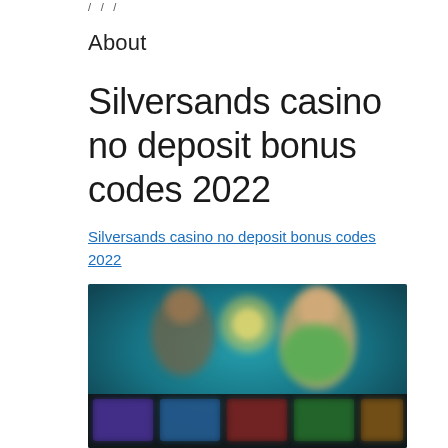/ / /
About
Silversands casino no deposit bonus codes 2022
Silversands casino no deposit bonus codes 2022
[Figure (screenshot): Blurred screenshot of an online casino website showing colorful game thumbnails and a live dealer interface with blue and teal background colors.]